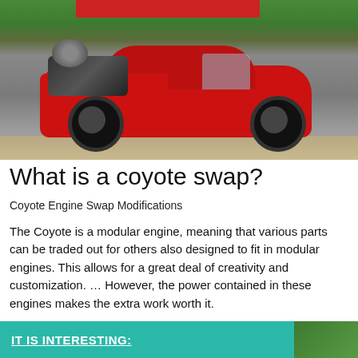[Figure (photo): Red Ford Mustang with hood open showing engine bay with turbocharger, parked on a driveway with green grass in background. A redacted banner appears at the top of the image.]
What is a coyote swap?
Coyote Engine Swap Modifications
The Coyote is a modular engine, meaning that various parts can be traded out for others also designed to fit in modular engines. This allows for a great deal of creativity and customization. … However, the power contained in these engines makes the extra work worth it.
IT IS INTERESTING: